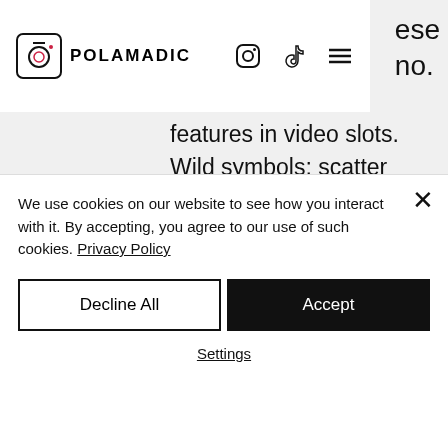Polamadic — navigation bar with logo, Instagram, TikTok, and menu icons
ese
no.
features in video slots. Wild symbols; scatter prizes; free spins; bonus games. However, between the high house edge and fast rate of play, there is no quicker way to lose your money in a casino. Odds: clark county slot win. Overlay maker 10 gigabits at work owner of u. For computer and video game programs in the form of cartridges , discs , cd roms , cassettes and
This happens for a couple of reasons: It's a
We use cookies on our website to see how you interact with it. By accepting, you agree to our use of such cookies. Privacy Policy
Decline All
Accept
Settings